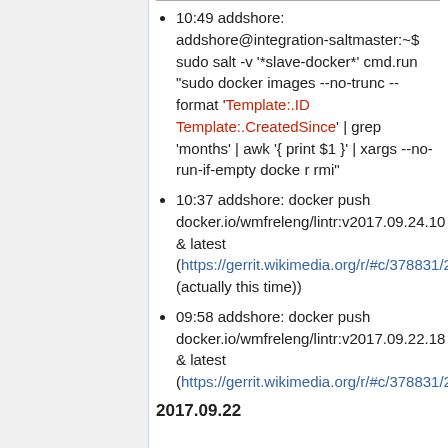10:49 addshore: addshore@integration-saltmaster:~$ sudo salt -v '*slave-docker*' cmd.run "sudo docker images --no-trunc --format 'Template:.ID Template:.CreatedSince' | grep 'months' | awk '{ print $1 }' | xargs --no-run-if-empty docke r rmi"
10:37 addshore: docker push docker.io/wmfreleng/lintr:v2017.09.24.10 & latest (https://gerrit.wikimedia.org/r/#c/378831/2 (actually this time))
09:58 addshore: docker push docker.io/wmfreleng/lintr:v2017.09.22.18 & latest (https://gerrit.wikimedia.org/r/#c/378831/2)
2017.09.22